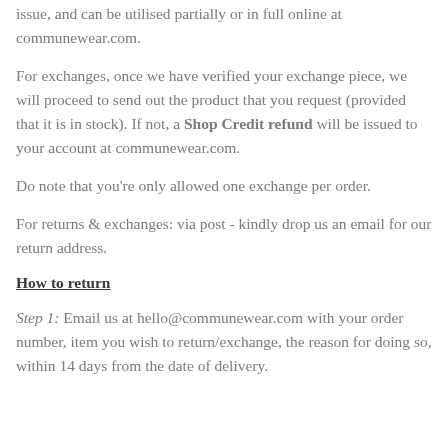issue, and can be utilised partially or in full online at communewear.com.
For exchanges, once we have verified your exchange piece, we will proceed to send out the product that you request (provided that it is in stock). If not, a Shop Credit refund will be issued to your account at communewear.com.
Do note that you're only allowed one exchange per order.
For returns & exchanges: via post - kindly drop us an email for our return address.
How to return
Step 1: Email us at hello@communewear.com with your order number, item you wish to return/exchange, the reason for doing so, within 14 days from the date of delivery.